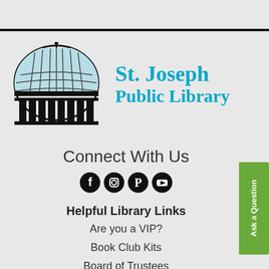[Figure (logo): St. Joseph Public Library logo with dome building illustration]
St. Joseph Public Library
Connect With Us
[Figure (infographic): Social media icons: Facebook, Instagram, Pinterest, YouTube]
Helpful Library Links
Are you a VIP?
Book Club Kits
Board of Trustees